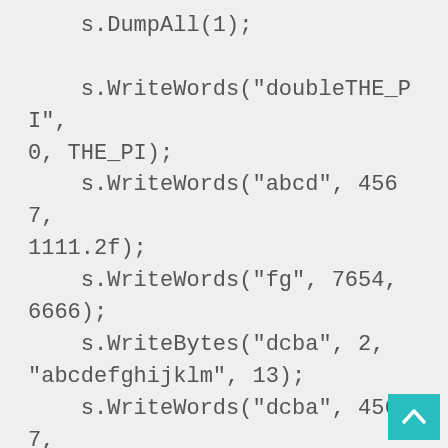s.DumpAll(1);

    s.WriteWords("doubleTHE_PI", 0, THE_PI);
    s.WriteWords("abcd", 4567, 1111.2f);
    s.WriteWords("fg", 7654, 6666);
    s.WriteBytes("dcba", 2, "abcdefghijklm", 13);
    s.WriteWords("dcba", 4567, 100000.f*100000.f*100000.f);
    s.WriteWords("gd", 1111, 6666);
    s.WriteBytes("b...